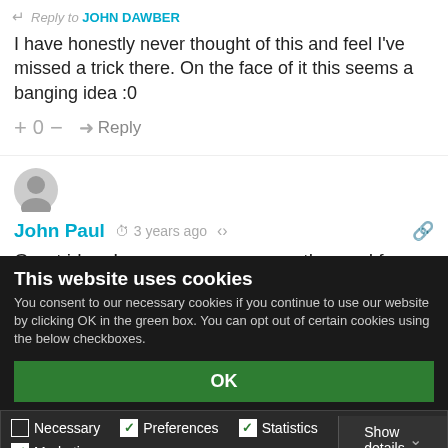Reply to JOHN DAWBER
I have honestly never thought of this and feel I've missed a trick there. On the face of it this seems a banging idea :0
+ 0 — → Reply
John Paul  3 years ago
Great idea. Leaves more room on the road for me and other car enthusiasts..
+ 3 — → Reply
This website uses cookies
You consent to our necessary cookies if you continue to use our website by clicking OK in the green box. You can opt out of certain cookies using the below checkboxes.
OK
Necessary  Preferences  Statistics  Marketing  Show details